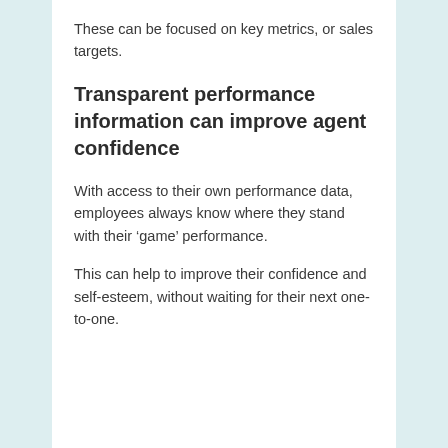These can be focused on key metrics, or sales targets.
Transparent performance information can improve agent confidence
With access to their own performance data, employees always know where they stand with their ‘game’ performance.
This can help to improve their confidence and self-esteem, without waiting for their next one-to-one.